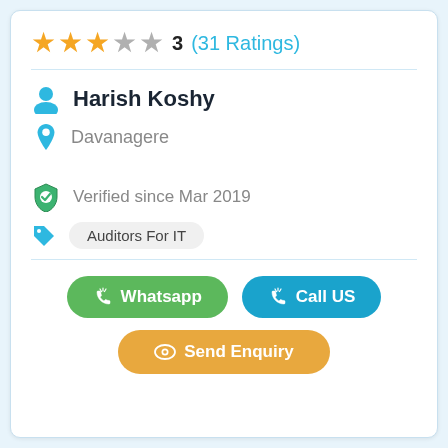3 (31 Ratings) — star rating display with 3 gold stars and 2 gray stars
Harish Koshy
Davanagere
Verified since Mar 2019
Auditors For IT
Whatsapp
Call US
Send Enquiry